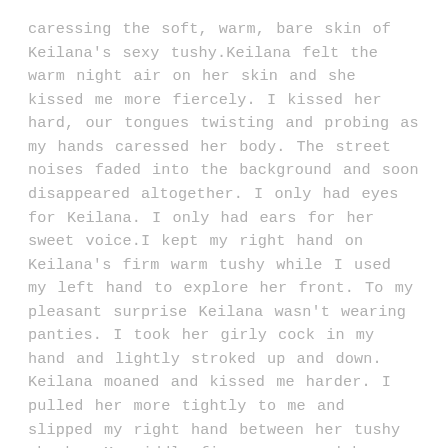caressing the soft, warm, bare skin of Keilana's sexy tushy.Keilana felt the warm night air on her skin and she kissed me more fiercely. I kissed her hard, our tongues twisting and probing as my hands caressed her body. The street noises faded into the background and soon disappeared altogether. I only had eyes for Keilana. I only had ears for her sweet voice.I kept my right hand on Keilana's firm warm tushy while I used my left hand to explore her front. To my pleasant surprise Keilana wasn't wearing panties. I took her girly cock in my hand and lightly stroked up and down. Keilana moaned and kissed me harder. I pulled her more tightly to me and slipped my right hand between her tushy cheeks. My middle finger massaged her rosebud. Keilana moaned and then let out a little whimper. Encouraged I slipped my finger into her. Keilana whimpered more loudly and broke our kiss.She pulled her head back far enough to look at me. Her eyes were twinkling and there was a devilish smile on her face. Keilana wiggled her tushy and squeezed down on my finger that was in her. I slowly moved my finger in and